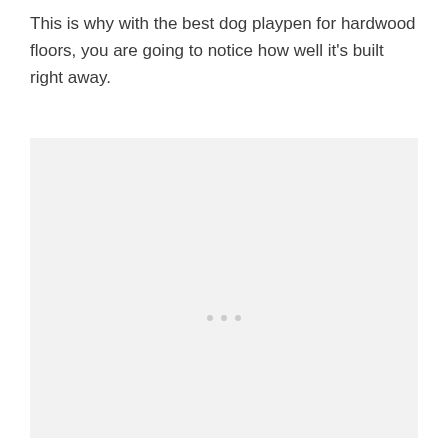This is why with the best dog playpen for hardwood floors, you are going to notice how well it's built right away.
[Figure (other): A large light gray placeholder image box with three small gray dots centered near the middle-lower area, indicating a loading or empty image placeholder.]